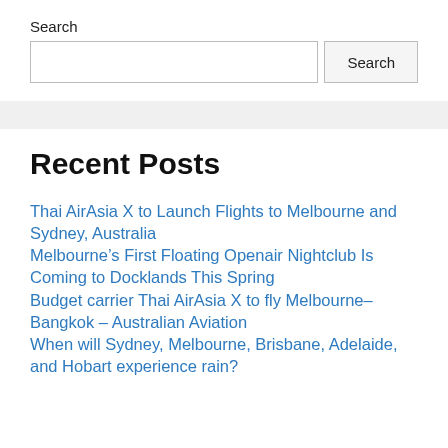Search
Search input and button
Recent Posts
Thai AirAsia X to Launch Flights to Melbourne and Sydney, Australia
Melbourne’s First Floating Openair Nightclub Is Coming to Docklands This Spring
Budget carrier Thai AirAsia X to fly Melbourne–Bangkok – Australian Aviation
When will Sydney, Melbourne, Brisbane, Adelaide, and Hobart experience rain?